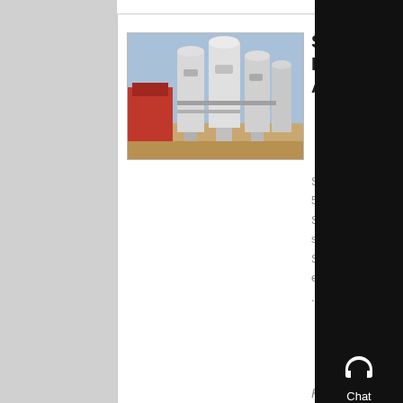[Figure (photo): Industrial silica sand processing facility with large metal silos and equipment]
Silica Sand API Rp 56 South Africa Silica
Silica Sand API Rp 56,complete details about Silica , Sand For Glass white silica sand Silica Quartz Sand Silica Sand , cc was established in South Africa in ....
Know